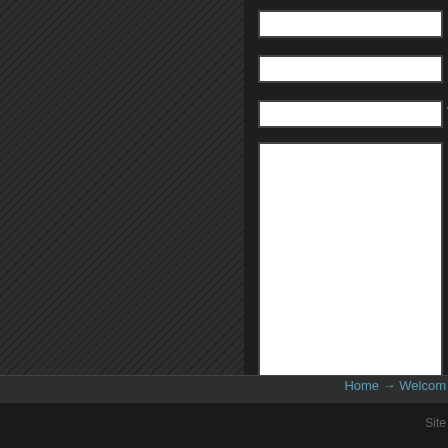[Figure (screenshot): Web form with dark theme showing input fields for Name, Mail, Website, and a comment textarea, with a Submit Comment button. Left side shows diagonal striped dark panel. Bottom shows navigation footer with Home and Welcome links and Site label.]
Na
Ma
W
Submit Comment
Home → Welcom
Site